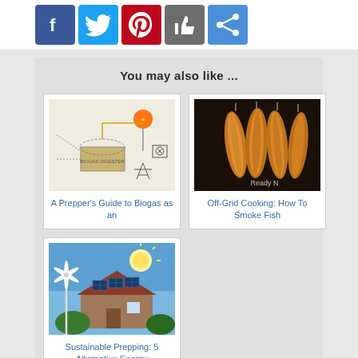[Figure (other): Social media share buttons: Facebook (blue), Twitter (light blue), Pinterest (red), Like/thumbs-up (grey), Share (blue)]
You may also like ...
[Figure (schematic): Biogas system schematic diagram with orange flame icon and flow lines]
A Prepper's Guide to Biogas as an
[Figure (photo): Photo of smoked fish hanging, golden-brown color, with 'Ready N' watermark]
Off-Grid Cooking: How To Smoke Fish
[Figure (photo): Photo of a house with solar panels on roof and a wind turbine in front, blue sky with sun]
Sustainable Prepping: 5 Alternative Energy